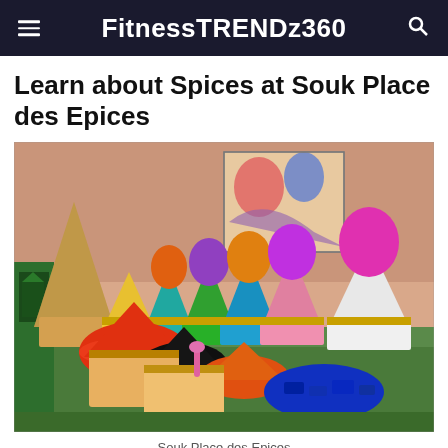FitnessTRENDz360
Learn about Spices at Souk Place des Epices
[Figure (photo): Colorful conical spice displays in decorative painted containers at a market stall, Souk Place des Epices. Vibrant mounds of various colored spice powders including orange, red, purple, green, black, and blue are arranged in rows on a table.]
Souk Place des Epices